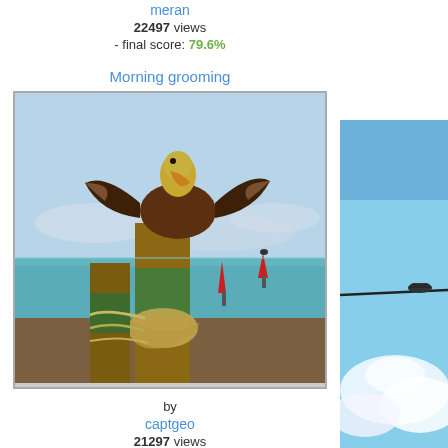meran
22497 views
- final score: 79.6%
Morning grooming
[Figure (photo): A pelican spreading its wings while perched on a wooden dock post with ropes, with red navigation buoys and calm blue-green water in the background.]
by
captgeo
21297 views
- final score: 76.1%
[Figure (photo): Partial view of a bird in flight against a blue sky with white clouds, cropped at the right edge of the page.]